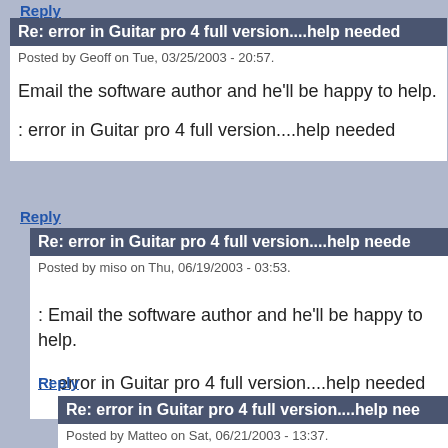Reply
Re: error in Guitar pro 4 full version....help needed
Posted by Geoff on Tue, 03/25/2003 - 20:57.
Email the software author and he'll be happy to help.
: error in Guitar pro 4 full version....help needed
Reply
Re: error in Guitar pro 4 full version....help needed
Posted by miso on Thu, 06/19/2003 - 03:53.
: Email the software author and he'll be happy to help.
: : error in Guitar pro 4 full version....help needed
Reply
Re: error in Guitar pro 4 full version....help needed
Posted by Matteo on Sat, 06/21/2003 - 13:37.
WHEN I OPEN SOME GUITAR PRO 4 FILE IS W... FILE BRINGING THE SOFTWARE VERSION OR... NECESSARY" WHAT I CAN DO?